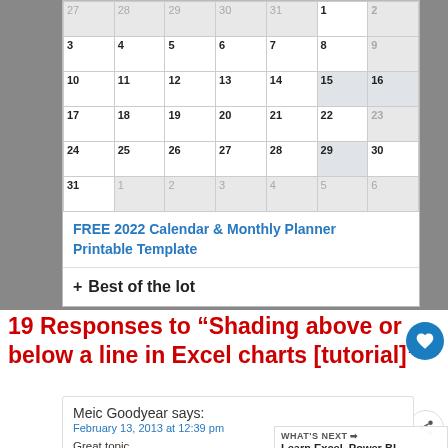[Figure (screenshot): Calendar screenshot showing a monthly calendar grid with dates 27-31 and 1-30, a link 'FREE 2022 Calendar & Monthly Planner Printable Template', and a '+ Best of the lot' section]
19 Responses to “Shading above or below a line in Excel charts [tutorial]”
Meic Goodyear says:
February 13, 2013 at 12:39 pm
Great topic.
Your Option 1 is one of my preferred methods, subject to a change of colour scheme. I know RAG (Red/Amber/Green) is standard, but red and green is the worst colour pairing of all opposites, as 10% of males are red-green colour blind. Especially when using similar colour densities your options 3 and 4 would be quite unreadable to that section of the population. Unless mandated by